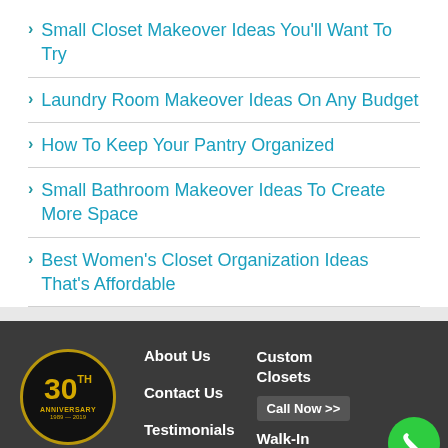Small Closet Makeover Ideas You'll Want To Try
Laundry Room Makeover Ideas On Any Budget
How To Keep Your Pantry Organized
Small Bathroom Makeover Ideas To Create More Space
Best Women's Closet Organization Ideas That's Affordable
[Figure (logo): 30th Anniversary circular logo with gold text on black background]
About Us
Contact Us
Testimonials
Custom Closets
Call Now >>
Walk-In Closets